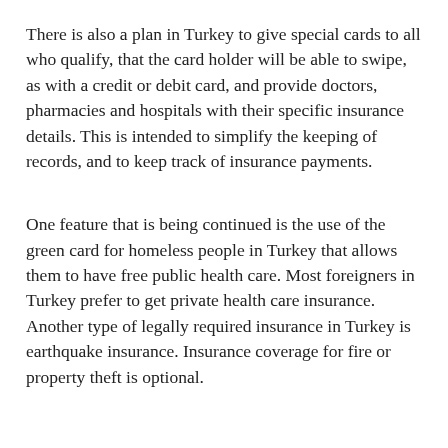There is also a plan in Turkey to give special cards to all who qualify, that the card holder will be able to swipe, as with a credit or debit card, and provide doctors, pharmacies and hospitals with their specific insurance details. This is intended to simplify the keeping of records, and to keep track of insurance payments.
One feature that is being continued is the use of the green card for homeless people in Turkey that allows them to have free public health care. Most foreigners in Turkey prefer to get private health care insurance. Another type of legally required insurance in Turkey is earthquake insurance. Insurance coverage for fire or property theft is optional.